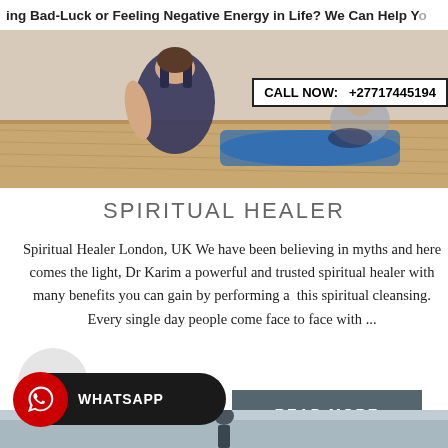[Figure (photo): Banner with partial text 'ing Bad-Luck or Feeling Negative Energy in Life? We Can Help Ye' and a photo of a yoga/meditation studio with a woman in dark athletic wear seen from behind, and a white call-now box overlaid reading 'CALL NOW: +27717445199']
SPIRITUAL HEALER
Spiritual Healer London, UK We have been believing in myths and here comes the light, Dr Karim a powerful and trusted spiritual healer with many benefits you can gain by performing a this spiritual cleansing. Every single day people come face to face with ...
[Figure (screenshot): WHATSAPP button (dark rounded pill with red WhatsApp icon)]
[Figure (screenshot): READ MORE button (dark grey rectangle with teal underline)]
[Figure (screenshot): WhatsApp us teal bar button]
[Figure (photo): Bottom image strip showing a person standing, partially visible]